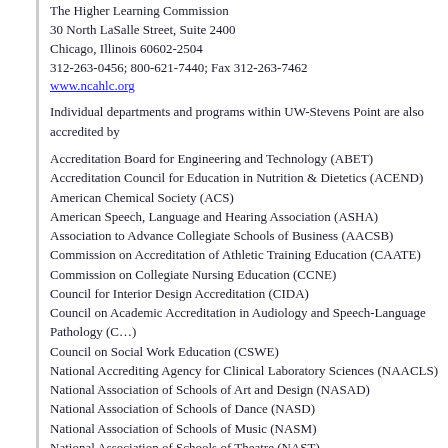The Higher Learning Commission
30 North LaSalle Street, Suite 2400
Chicago, Illinois 60602-2504
312-263-0456; 800-621-7440; Fax 312-263-7462
www.ncahlc.org
Individual departments and programs within UW-Stevens Point are also accredited by
Accreditation Board for Engineering and Technology (ABET)
Accreditation Council for Education in Nutrition & Dietetics (ACEND)
American Chemical Society (ACS)
American Speech, Language and Hearing Association (ASHA)
Association to Advance Collegiate Schools of Business (AACSB)
Commission on Accreditation of Athletic Training Education (CAATE)
Commission on Collegiate Nursing Education (CCNE)
Council for Interior Design Accreditation (CIDA)
Council on Academic Accreditation in Audiology and Speech-Language Pathology (C…)
Council on Social Work Education (CSWE)
National Accrediting Agency for Clinical Laboratory Sciences (NAACLS)
National Association of Schools of Art and Design (NASAD)
National Association of Schools of Dance (NASD)
National Association of Schools of Music (NASM)
National Association of Schools of Theatre (NAST)
National Wellness Institute (NWI)
North American Association for Environmental Education (NAAEE)
Society of American Foresters (SAF)
UW-Stevens Point Administration
Bernie L. Patterson, Chancellor
Gregory Summers, Provost and Vice Chancellor for Academic Affairs
Kristen Hendrickson, Vice Chancellor for Business Affairs